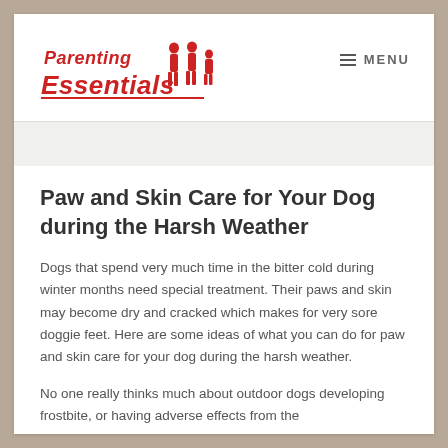[Figure (logo): Parenting Essentials logo in red with silhouette of family figures]
≡ MENU
Paw and Skin Care for Your Dog during the Harsh Weather
Dogs that spend very much time in the bitter cold during winter months need special treatment. Their paws and skin may become dry and cracked which makes for very sore doggie feet. Here are some ideas of what you can do for paw and skin care for your dog during the harsh weather.
No one really thinks much about outdoor dogs developing frostbite, or having adverse effects from the